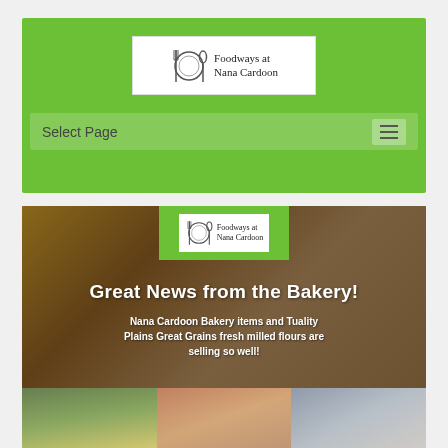[Figure (logo): Foodways at Nana Cardoon logo with fork, plate, and spoon illustration, white background, in green header bar]
Select Page
[Figure (photo): Hero banner with food/bakery background photo showing bread, cheese, and grain stone mill. Contains smaller Foodways at Nana Cardoon logo on green background overlay at top center.]
Great News from the Bakery!
Nana Cardoon Bakery items and Tuality Plains Great Grains fresh milled flours are selling so well!
[Figure (photo): Three thumbnail images at bottom: left shows person with large backpack outdoors, center shows hands kneading dough, right shows kitchen equipment/faucet]